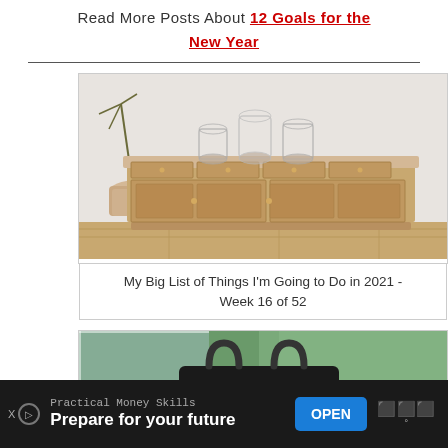Read More Posts About 12 Goals for the New Year
[Figure (photo): Photo of a wooden sideboard/buffet with glass hurricane vases on top, in a bright room with a plant in a basket to the left]
My Big List of Things I'm Going to Do in 2021 - Week 16 of 52
[Figure (photo): Photo showing a dark tote bag with a logo on it, outdoors with greenery in the background]
Practical Money Skills
Prepare for your future
OPEN